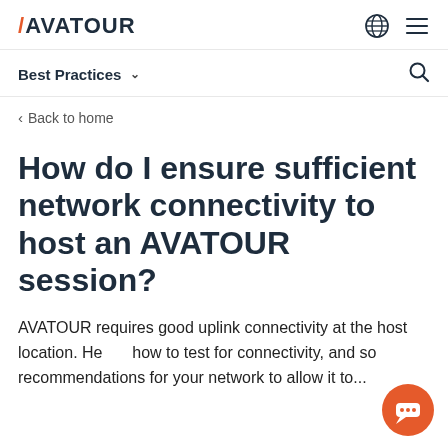AVATOUR
Best Practices
Back to home
How do I ensure sufficient network connectivity to host an AVATOUR session?
AVATOUR requires good uplink connectivity at the host location. Here's how to test for connectivity, and some recommendations for your network to allow it to...